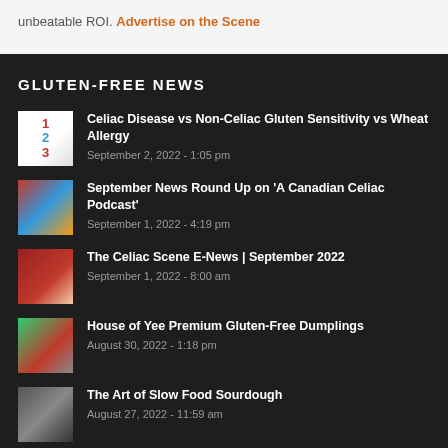unbeatable ROI. Advertise on the Scene
GLUTEN-FREE NEWS
Celiac Disease vs Non-Celiac Gluten Sensitivity vs Wheat Allergy
September 2, 2022 - 1:05 pm
September News Round Up on 'A Canadian Celiac Podcast'
September 1, 2022 - 4:19 pm
The Celiac Scene E-News | September 2022
September 1, 2022 - 8:00 am
House of Yee Premium Gluten-Free Dumplings
August 30, 2022 - 1:18 pm
The Art of Slow Food Sourdough
August 27, 2022 - 11:59 am